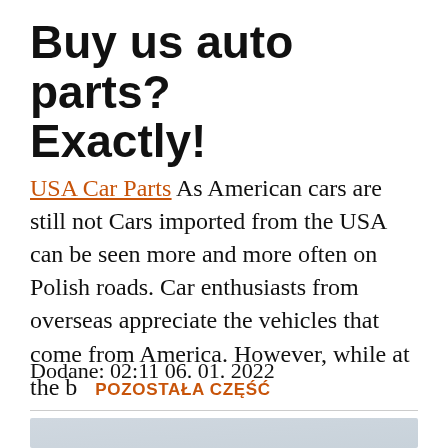Buy us auto parts? Exactly!
USA Car Parts As American cars are still not Cars imported from the USA can be seen more and more often on Polish roads. Car enthusiasts from overseas appreciate the vehicles that come from America. However, while at the b POZOSTAŁA CZĘŚĆ
Dodane: 02:11 06. 01. 2022
[Figure (photo): Partially visible image at bottom of page, light blue-grey background]